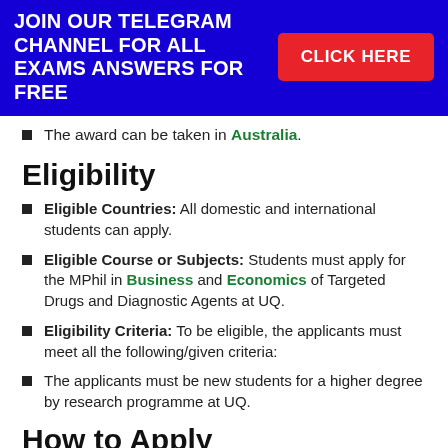[Figure (infographic): Blue banner with white bold text 'JOIN OUR TELEGRAM CHANNEL FOR ALL EXAMS ANSWERS FOR FREE' and a red button labeled 'CLICK HERE']
The award can be taken in Australia.
Eligibility
Eligible Countries: All domestic and international students can apply.
Eligible Course or Subjects: Students must apply for the MPhil in Business and Economics of Targeted Drugs and Diagnostic Agents at UQ.
Eligibility Criteria: To be eligible, the applicants must meet all the following/given criteria:
The applicants must be new students for a higher degree by research programme at UQ.
How to Apply